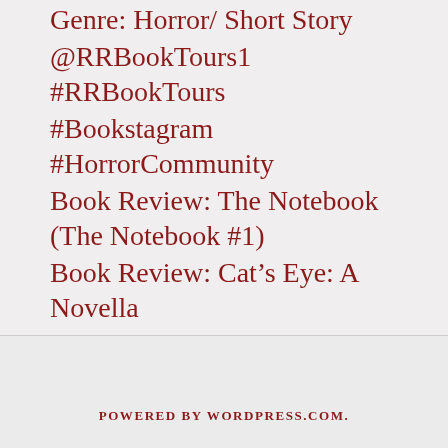Genre: Horror/ Short Story
@RRBookTours1 #RRBookTours
#Bookstagram #HorrorCommunity
Book Review: The Notebook (The Notebook #1)
Book Review: Cat's Eye: A Novella
POWERED BY WORDPRESS.COM.